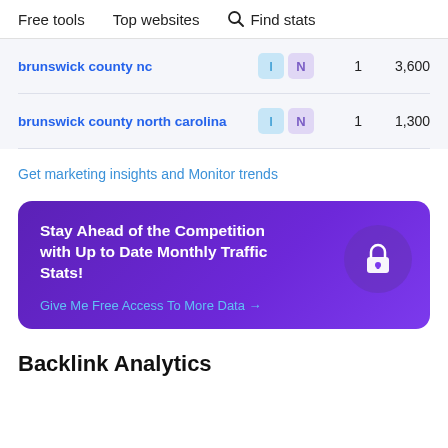Free tools   Top websites   Find stats
brunswick county nc   I  N   1   3,600
brunswick county north carolina   I  N   1   1,300
Get marketing insights and Monitor trends
Stay Ahead of the Competition with Up to Date Monthly Traffic Stats!
Give Me Free Access To More Data →
Backlink Analytics